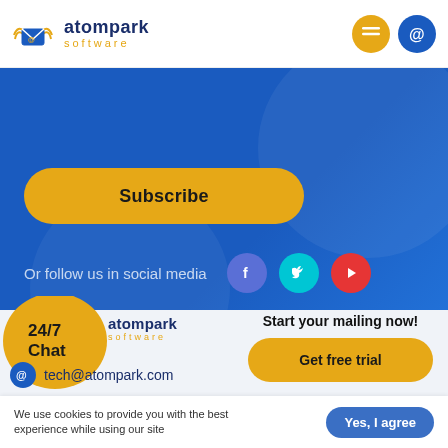[Figure (logo): Atompark Software logo with envelope icon]
[Figure (infographic): Yellow Subscribe button on blue background with social media icons (Facebook, Twitter, YouTube) and text 'Or follow us in social media']
[Figure (infographic): 24/7 Chat bubble, Atompark software logo, email tech@atompark.com, Start your mailing now! Get free trial button]
We use cookies to provide you with the best experience while using our site